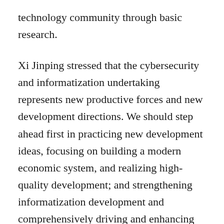technology community through basic research.
Xi Jinping stressed that the cybersecurity and informatization undertaking represents new productive forces and new development directions. We should step ahead first in practicing new development ideas, focusing on building a modern economic system, and realizing high-quality development; and strengthening informatization development and comprehensively driving and enhancing new kinds of development in industrialization, urbanization, and agricultural modernization. We must develop the digital economy, accelerate the promotion of digital industrialization, rely on information